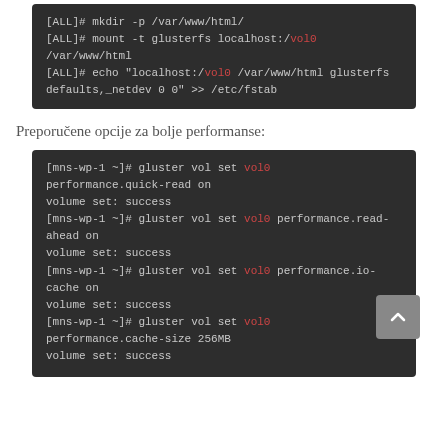[Figure (screenshot): Dark terminal code block showing mount and echo commands with vol0 highlighted in red]
Preporučene opcije za bolje performanse:
[Figure (screenshot): Dark terminal code block showing gluster vol set commands for performance.quick-read, performance.read-ahead, performance.io-cache, performance.cache-size with vol0 in red and volume set: success responses]